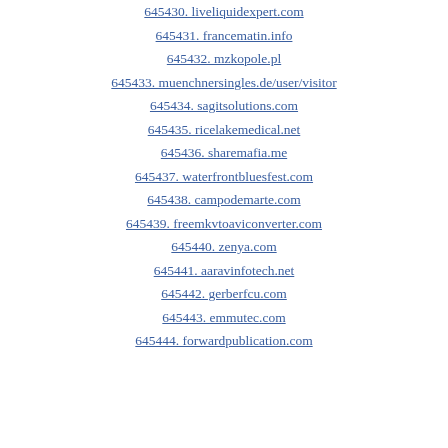645430. liveliquidexpert.com
645431. francematin.info
645432. mzkopole.pl
645433. muenchnersingles.de/user/visitor
645434. sagitsolutions.com
645435. ricelakemedical.net
645436. sharemafia.me
645437. waterfrontbluesfest.com
645438. campodemarte.com
645439. freemkvtoaviconverter.com
645440. zenya.com
645441. aaravinfotech.net
645442. gerberfcu.com
645443. emmutec.com
645444. forwardpublication.com